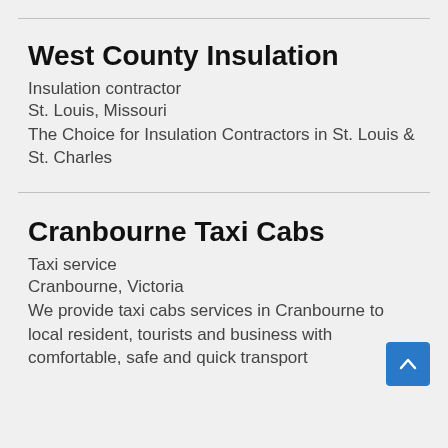West County Insulation
Insulation contractor
St. Louis, Missouri
The Choice for Insulation Contractors in St. Louis & St. Charles
Cranbourne Taxi Cabs
Taxi service
Cranbourne, Victoria
We provide taxi cabs services in Cranbourne to local resident, tourists and business with comfortable, safe and quick transport